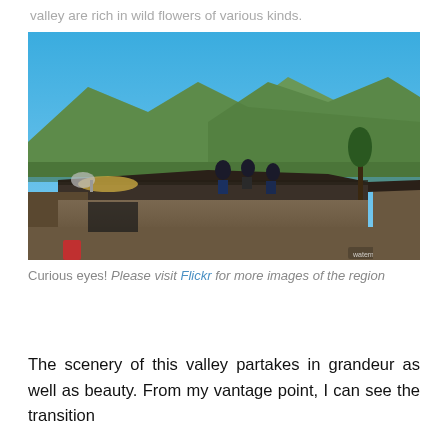valley are rich in wild flowers of various kinds.
[Figure (photo): Outdoor photograph showing people sitting on a traditional slate-roofed mountain building with green mountain ridges and clear blue sky in the background, along with other rustic structures below.]
Curious eyes! Please visit Flickr for more images of the region
The scenery of this valley partakes in grandeur as well as beauty. From my vantage point, I can see the transition